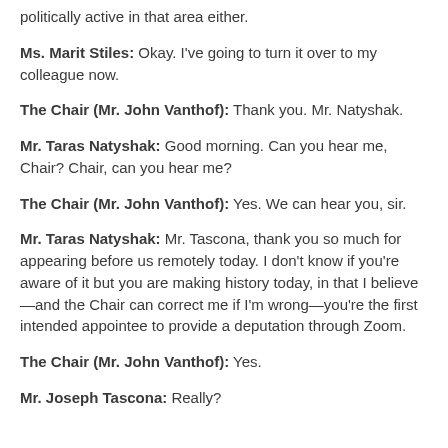politically active in that area either.
Ms. Marit Stiles: Okay. I've going to turn it over to my colleague now.
The Chair (Mr. John Vanthof): Thank you. Mr. Natyshak.
Mr. Taras Natyshak: Good morning. Can you hear me, Chair? Chair, can you hear me?
The Chair (Mr. John Vanthof): Yes. We can hear you, sir.
Mr. Taras Natyshak: Mr. Tascona, thank you so much for appearing before us remotely today. I don't know if you're aware of it but you are making history today, in that I believe—and the Chair can correct me if I'm wrong—you're the first intended appointee to provide a deputation through Zoom.
The Chair (Mr. John Vanthof): Yes.
Mr. Joseph Tascona: Really?